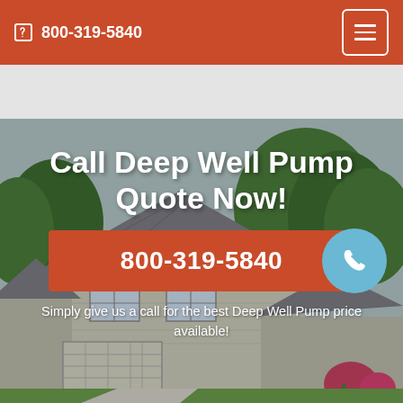📱 800-319-5840
[Figure (photo): Background photo of a suburban house with gray siding, white-trimmed windows, attached garage, green lawn, and trees in background]
Call Deep Well Pump Quote Now!
800-319-5840
Simply give us a call for the best Deep Well Pump price available!